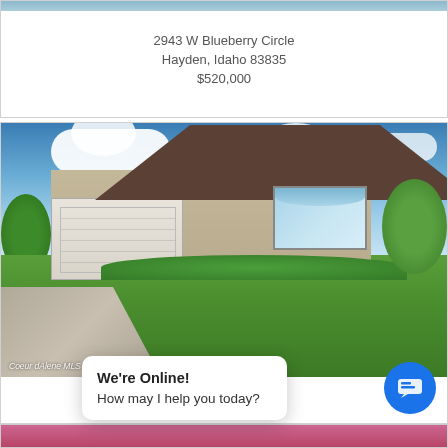2943 W Blueberry Circle
Hayden, Idaho 83835
$520,000
[Figure (photo): Exterior photo of a single-story ranch-style home with two-car garage, brick accent, large arched window, manicured lawn, blue sky with clouds. Watermark: Coeur dAlene MLS]
2943 W Blueberry Circle
We're Online!
How may I help you today?
[Figure (photo): Partial view of another listing photo at the bottom of the page]